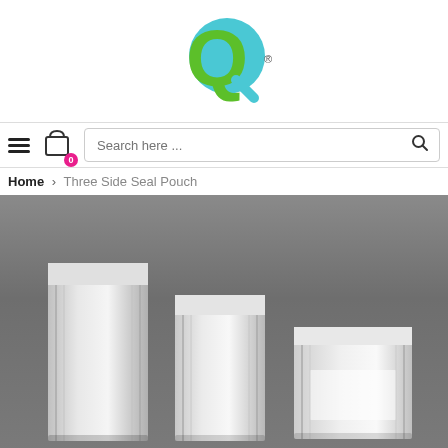[Figure (logo): Q brand logo with green Q letter and teal circle, registered trademark symbol]
Hamburger menu, cart icon with 0 badge, Search here... search box
Home > Three Side Seal Pouch
[Figure (photo): Multiple silver/metallic three-side-seal pouches of different sizes arranged on a dark gray background, showing front and side views]